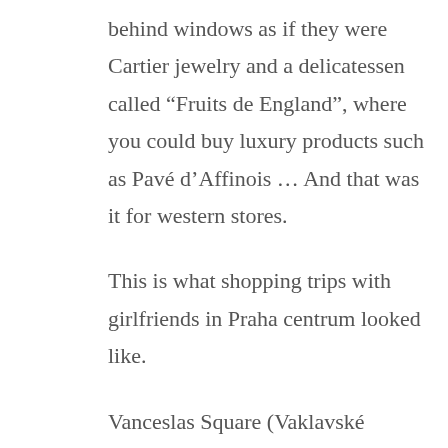behind windows as if they were Cartier jewelry and a delicatessen called “Fruits de England”, where you could buy luxury products such as Pavé d’Affinois ... And that was it for western stores.
This is what shopping trips with girlfriends in Praha centrum looked like.
Vanceslas Square (Vaklavské namÄ›sti) was a long, empty alley. A few people barely walked there. No tourists. We were